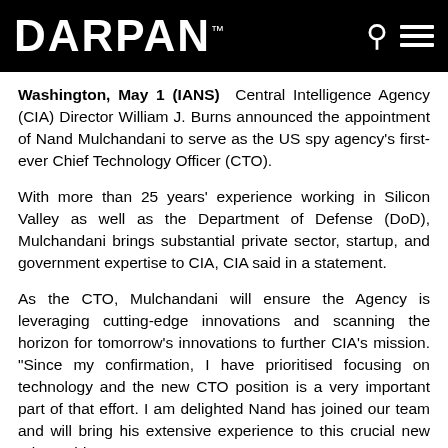DARPAN™
Washington, May 1 (IANS) Central Intelligence Agency (CIA) Director William J. Burns announced the appointment of Nand Mulchandani to serve as the US spy agency's first-ever Chief Technology Officer (CTO).
With more than 25 years' experience working in Silicon Valley as well as the Department of Defense (DoD), Mulchandani brings substantial private sector, startup, and government expertise to CIA, CIA said in a statement.
As the CTO, Mulchandani will ensure the Agency is leveraging cutting-edge innovations and scanning the horizon for tomorrow's innovations to further CIA's mission. "Since my confirmation, I have prioritised focusing on technology and the new CTO position is a very important part of that effort. I am delighted Nand has joined our team and will bring his extensive experience to this crucial new role," said Burns.
Prior to joining CIA, Mulchandani most recently served as the CTO and Acting Director of DoD's Joint Artificial Intelligence Center. He also co-founded and was CEO of several successful startups such as Oblix (acquired by Oracle), Determina (acquired by VMWare), OpenDNS (acquired by Cisco), and CookXteme (acquired by Citrix).